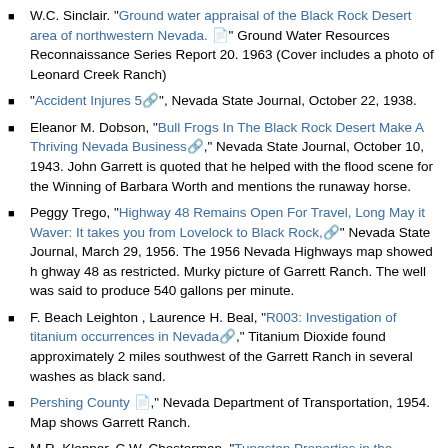W.C. Sinclair. "Ground water appraisal of the Black Rock Desert area of northwestern Nevada." Ground Water Resources Reconnaissance Series Report 20. 1963 (Cover includes a photo of Leonard Creek Ranch)
"Accident Injures 5", Nevada State Journal, October 22, 1938.
Eleanor M. Dobson, "Bull Frogs In The Black Rock Desert Make A Thriving Nevada Business," Nevada State Journal, October 10, 1943. John Garrett is quoted that he helped with the flood scene for the Winning of Barbara Worth and mentions the runaway horse.
Peggy Trego, "Highway 48 Remains Open For Travel, Long May it Waver: It takes you from Lovelock to Black Rock," Nevada State Journal, March 29, 1956. The 1956 Nevada Highways map showed h ghway 48 as restricted. Murky picture of Garrett Ranch. The well was said to produce 540 gallons per minute.
F. Beach Leighton , Laurence H. Beal, "R003: Investigation of titanium occurrences in Nevada," Titanium Dioxide found approximately 2 miles southwest of the Garrett Ranch in several washes as black sand.
Pershing County," Nevada Department of Transportation, 1954. Map shows Garrett Ranch.
M.R. Klepper, C.W. Chesterman, "Tungsten Properties in the Gerlach Area," Map, University of Nevada, Reno, KC-Special Collections, 1943. Map shows Garrett Ranch.